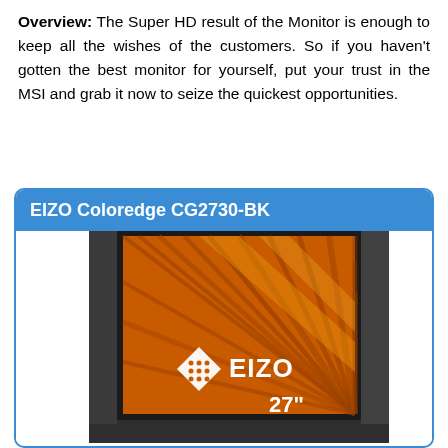Overview: The Super HD result of the Monitor is enough to keep all the wishes of the customers. So if you haven't gotten the best monitor for yourself, put your trust in the MSI and grab it now to seize the quickest opportunities.
EIZO Coloredge CG2730-BK
[Figure (photo): EIZO Coloredge CG2730-BK monitor with a hood/shade attached, displaying an orange radial pattern with the EIZO logo and '27"' text on the screen.]